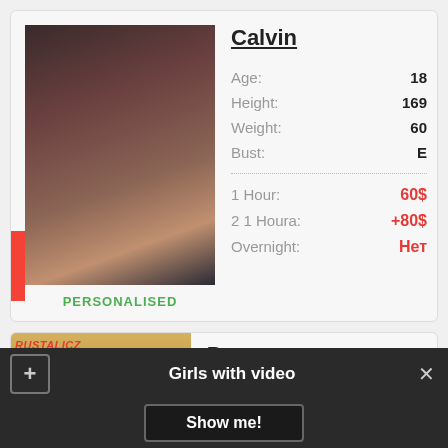[Figure (photo): Profile photo of Calvin, dark-haired woman]
PERSONALISED
Calvin
| Field | Value |
| --- | --- |
| Age: | 18 |
| Height: | 169 |
| Weight: | 60 |
| Bust: | E |
| 1 Hour: | 60$ |
| 2 1 Houra: | +80$ |
| Overnight: | Нет |
[Figure (photo): Profile photo of Roxanne, blonde woman]
Roxanne
Age: 18
Girls with video
Show me!